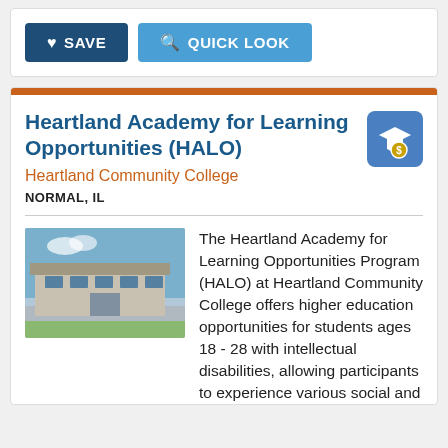[Figure (screenshot): Two buttons: a dark blue SAVE button with heart icon, and a lighter blue QUICK LOOK button with search icon]
Heartland Academy for Learning Opportunities (HALO)
Heartland Community College
NORMAL, IL
[Figure (photo): Exterior photo of Heartland Community College building with parking lot and blue sky]
The Heartland Academy for Learning Opportunities Program (HALO) at Heartland Community College offers higher education opportunities for students ages 18 - 28 with intellectual disabilities, allowing participants to experience various social and